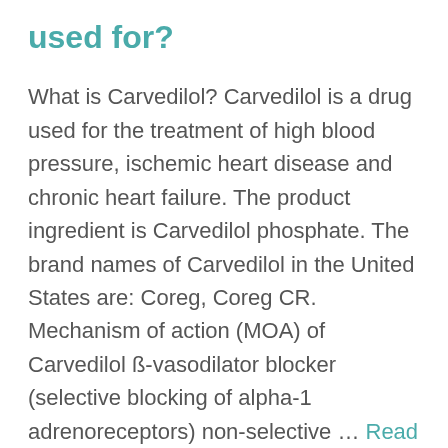used for?
What is Carvedilol? Carvedilol is a drug used for the treatment of high blood pressure, ischemic heart disease and chronic heart failure. The product ingredient is Carvedilol phosphate. The brand names of Carvedilol in the United States are: Coreg, Coreg CR. Mechanism of action (MOA) of Carvedilol ß-vasodilator blocker (selective blocking of alpha-1 adrenoreceptors) non-selective … Read more
C